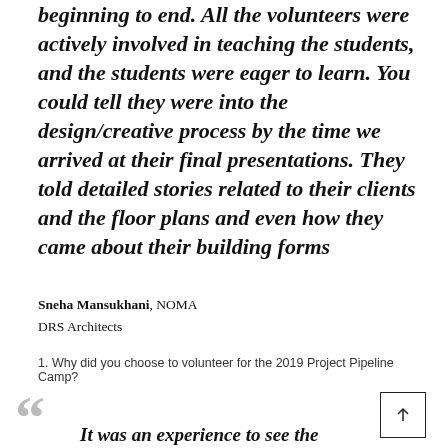beginning to end. All the volunteers were actively involved in teaching the students, and the students were eager to learn. You could tell they were into the design/creative process by the time we arrived at their final presentations. They told detailed stories related to their clients and the floor plans and even how they came about their building forms
Sneha Mansukhani, NOMA
DRS Architects
1. Why did you choose to volunteer for the 2019 Project Pipeline Camp?
It was an experience to see the